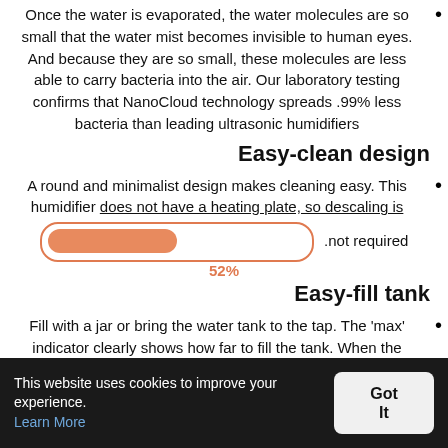Once the water is evaporated, the water molecules are so small that the water mist becomes invisible to human eyes. And because they are so small, these molecules are less able to carry bacteria into the air. Our laboratory testing confirms that NanoCloud technology spreads .99% less bacteria than leading ultrasonic humidifiers
Easy-clean design
A round and minimalist design makes cleaning easy. This humidifier does not have a heating plate, so descaling is .not required
[Figure (other): A progress bar showing 52% completion, with an orange/salmon colored fill inside a rounded rectangle border, and the label '52%' below in orange.]
Easy-fill tank
Fill with a jar or bring the water tank to the tap. The 'max' indicator clearly shows how far to fill the tank. When the tank is empty, the humidifier automatically shuts off and
This website uses cookies to improve your experience. Learn More  Got It